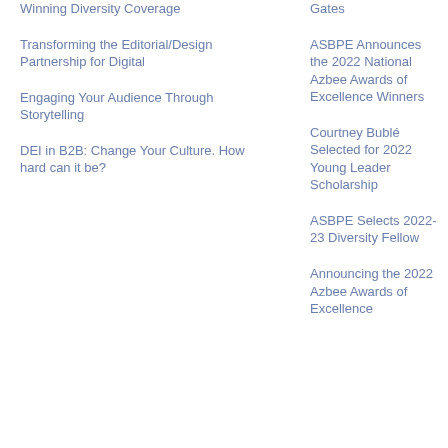Winning Diversity Coverage
Transforming the Editorial/Design Partnership for Digital
Engaging Your Audience Through Storytelling
DEI in B2B: Change Your Culture. How hard can it be?
Gates
ASBPE Announces the 2022 National Azbee Awards of Excellence Winners
Courtney Bublé Selected for 2022 Young Leader Scholarship
ASBPE Selects 2022-23 Diversity Fellow
Announcing the 2022 Azbee Awards of Excellence